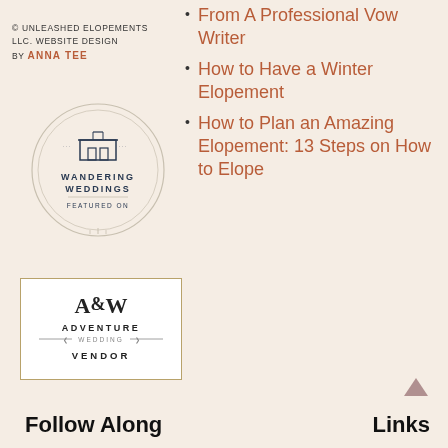© UNLEASHED ELOPEMENTS LLC. WEBSITE DESIGN BY ANNA TEE
[Figure (logo): Wandering Weddings circular badge/seal with architectural logo and text 'WANDERING WEDDINGS FEATURED ON']
[Figure (logo): Adventure Wedding Vendor badge with 'AW' monogram logo, text 'ADVENTURE WEDDING VENDOR', gold border]
From A Professional Vow Writer
How to Have a Winter Elopement
How to Plan an Amazing Elopement: 13 Steps on How to Elope
Follow Along
Links